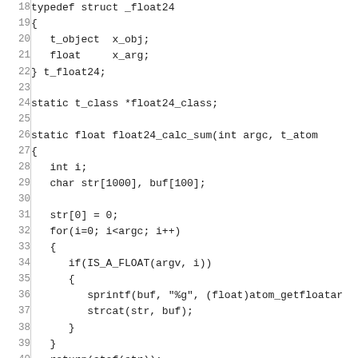Code listing lines 18-47 showing C source code for float24 struct and functions